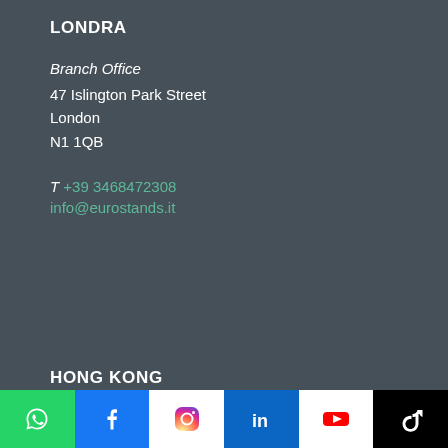LONDRA
Branch Office
47 Islington Park Street
London
N1 1QB
T +39 3468472308
info@eurostands.it
HONG KONG
[Figure (infographic): Social media icon bar with WhatsApp, Facebook, Instagram, LinkedIn, YouTube, TikTok buttons]